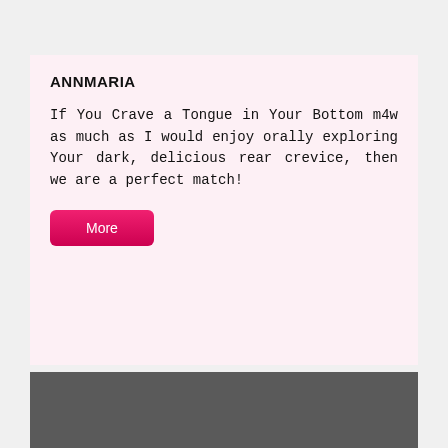ANNMARIA
If You Crave a Tongue in Your Bottom m4w as much as I would enjoy orally exploring Your dark, delicious rear crevice, then we are a perfect match!
[Figure (other): Pink 'More' button]
[Figure (other): Dark gray rectangle at bottom of page, partially visible]